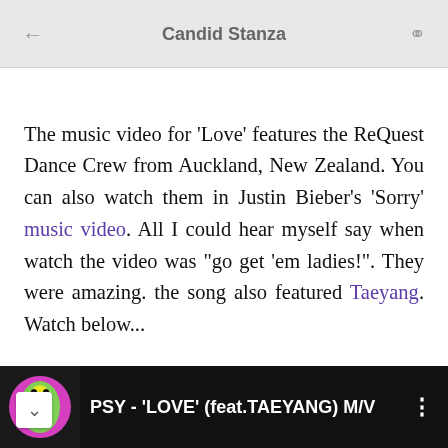Candid Stanza
The music video for 'Love' features the ReQuest Dance Crew from Auckland, New Zealand. You can also watch them in Justin Bieber's 'Sorry' music video. All I could hear myself say when watch the video was "go get 'em ladies!". They were amazing. the song also featured Taeyang. Watch below...
[Figure (screenshot): Video player bar showing PSY - 'LOVE' (feat. TAEYANG) M/V with thumbnail and menu dots]